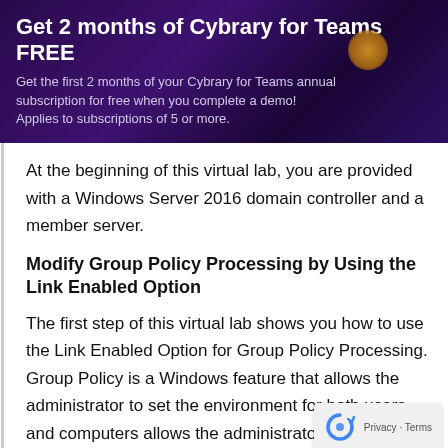Get 2 months of Cybrary for Teams FREE
Get the first 2 months of your Cybrary for Teams annual subscription for free when you complete a demo! Applies to subscriptions of 5 or more.
At the beginning of this virtual lab, you are provided with a Windows Server 2016 domain controller and a member server.
Modify Group Policy Processing by Using the Link Enabled Option
The first step of this virtual lab shows you how to use the Link Enabled Option for Group Policy Processing. Group Policy is a Windows feature that allows the administrator to set the environment for both users and computers allows the administrator to control